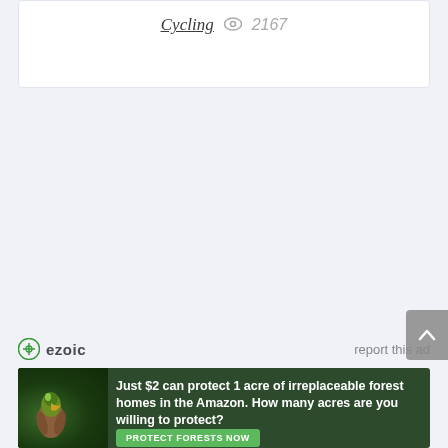Cycling  👁 2167
[Figure (screenshot): Scroll-to-top button (chevron up arrow) on right edge of page]
ezoic   report this ad
[Figure (photo): Advertisement banner: Just $2 can protect 1 acre of irreplaceable forest homes in the Amazon. How many acres are you willing to protect? PROTECT FORESTS NOW]